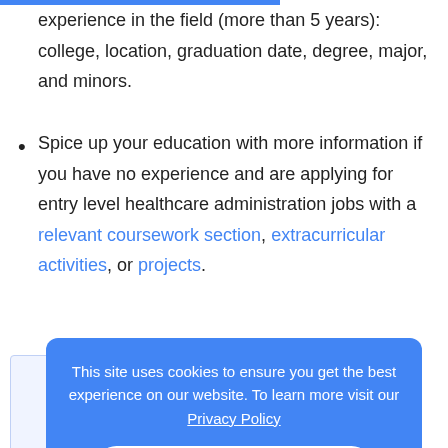experience in the field (more than 5 years): college, location, graduation date, degree, major, and minors.
Spice up your education with more information if you have no experience and are applying for entry level healthcare administration jobs with a relevant coursework section, extracurricular activities, or projects.
This site uses cookies to ensure you get the best experience on our website. To learn more visit our Privacy Policy
GOT IT!
5. Make sure your...